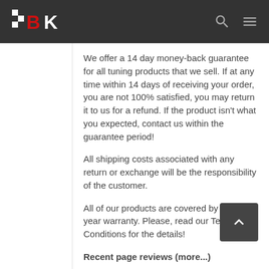BK logo header with search and menu icons
We offer a 14 day money-back guarantee for all tuning products that we sell. If at any time within 14 days of receiving your order, you are not 100% satisfied, you may return it to us for a refund. If the product isn't what you expected, contact us within the guarantee period!
All shipping costs associated with any return or exchange will be the responsibility of the customer.
All of our products are covered by a one year warranty. Please, read our Terms and Conditions for the details!
Recent page reviews (more...)